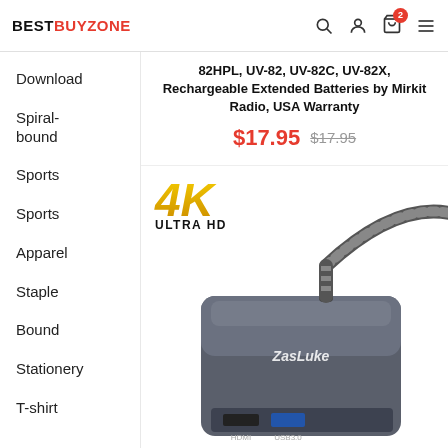BESTBUYZONE
Download
Spiral-bound
Sports
Sports
Apparel
Staple
Bound
Stationery
T-shirt
82HPL, UV-82, UV-82C, UV-82X, Rechargeable Extended Batteries by Mirkit Radio, USA Warranty
$17.95  $17.95
[Figure (photo): ZasLuke USB-C hub/adapter device with braided cable, showing HDMI and USB 3.0 ports, with 4K Ultra HD badge]